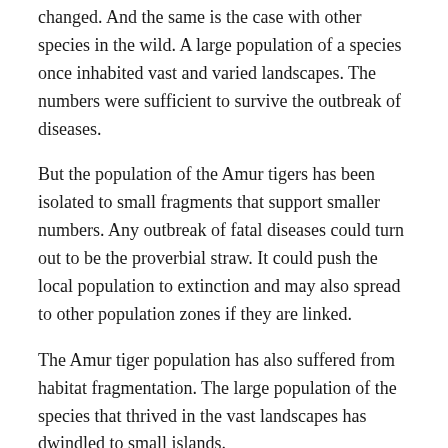changed. And the same is the case with other species in the wild. A large population of a species once inhabited vast and varied landscapes. The numbers were sufficient to survive the outbreak of diseases.
But the population of the Amur tigers has been isolated to small fragments that support smaller numbers. Any outbreak of fatal diseases could turn out to be the proverbial straw. It could push the local population to extinction and may also spread to other population zones if they are linked.
The Amur tiger population has also suffered from habitat fragmentation. The large population of the species that thrived in the vast landscapes has dwindled to small islands.
The death of a number of Amur tigers infested with canine